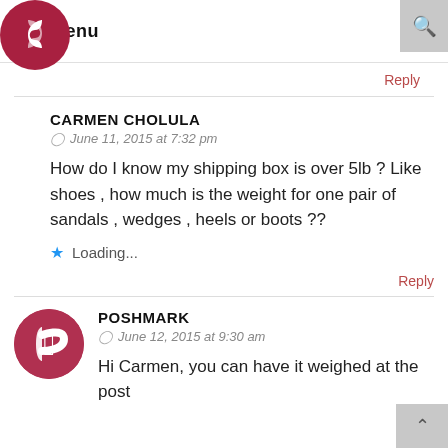Menu
Reply
CARMEN CHOLULA
June 11, 2015 at 7:32 pm

How do I know my shipping box is over 5lb ? Like shoes , how much is the weight for one pair of sandals , wedges , heels or boots ??

★ Loading...
Reply
POSHMARK
June 12, 2015 at 9:30 am

Hi Carmen, you can have it weighed at the post